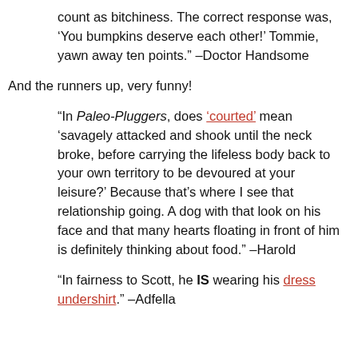count as bitchiness. The correct response was, ‘You bumpkins deserve each other!’ Tommie, yawn away ten points.” –Doctor Handsome
And the runners up, very funny!
“In Paleo-Pluggers, does ‘courted’ mean ‘savagely attacked and shook until the neck broke, before carrying the lifeless body back to your own territory to be devoured at your leisure?’ Because that’s where I see that relationship going. A dog with that look on his face and that many hearts floating in front of him is definitely thinking about food.” –Harold
“In fairness to Scott, he IS wearing his dress undershirt.” –Adfella